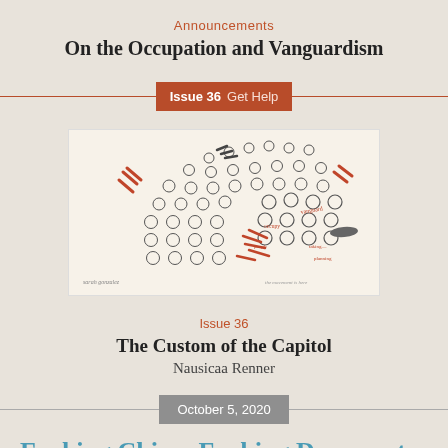Announcements
On the Occupation and Vanguardism
Issue 36  Get Help
[Figure (illustration): A hand-drawn illustration showing circles arranged in a pattern with red pen annotations and marks, resembling a diagram or map of people/positions.]
Issue 36
The Custom of the Capitol
Nausicaa Renner
October 5, 2020
Fucking China. Fucking Democrat people.